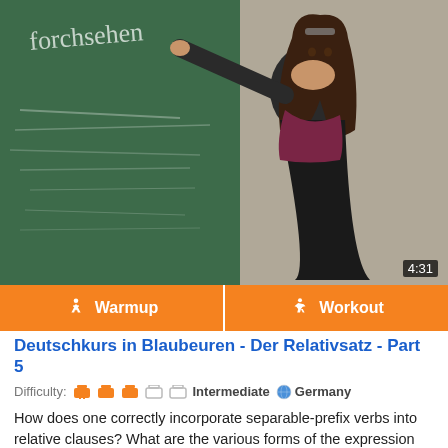[Figure (screenshot): Video thumbnail showing a woman pointing at a chalkboard with German text written on it. Duration badge shows 4:31.]
Warmup
Workout
Deutschkurs in Blaubeuren - Der Relativsatz - Part 5
Difficulty: Intermediate  Germany
How does one correctly incorporate separable-prefix verbs into relative clauses? What are the various forms of the expression for "every day" and why do they vary? Today Barbara addresses these perplexing questions and much more. Viel Spaß!